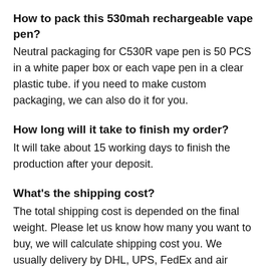How to pack this 530mah rechargeable vape pen?
Neutral packaging for C530R vape pen is 50 PCS in a white paper box or each vape pen in a clear plastic tube. if you need to make custom packaging, we can also do it for you.
How long will it take to finish my order?
It will take about 15 working days to finish the production after your deposit.
What's the shipping cost?
The total shipping cost is depended on the final weight. Please let us know how many you want to buy, we will calculate shipping cost you. We usually delivery by DHL, UPS, FedEx and air cargo and so on.
Hot Tags: CBD disposable vape pen, China,
manufacturers, suppliers, factory, customized, High THC